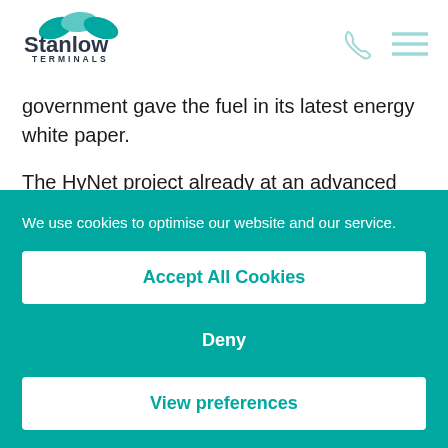Stanlow Terminals
government gave the fuel in its latest energy white paper.
The HyNet project already at an advanced stage of
We use cookies to optimise our website and our service.
Accept All Cookies
Deny
View preferences